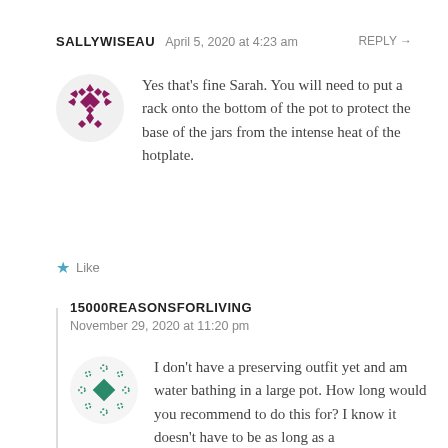SALLYWISEAU   April 5, 2020 at 4:23 am   REPLY →
Yes that's fine Sarah. You will need to put a rack onto the bottom of the pot to protect the base of the jars from the intense heat of the hotplate.
Like
15000REASONSFORLIVING
November 29, 2020 at 11:20 pm
I don't have a preserving outfit yet and am water bathing in a large pot. How long would you recommend to do this for? I know it doesn't have to be as long as a